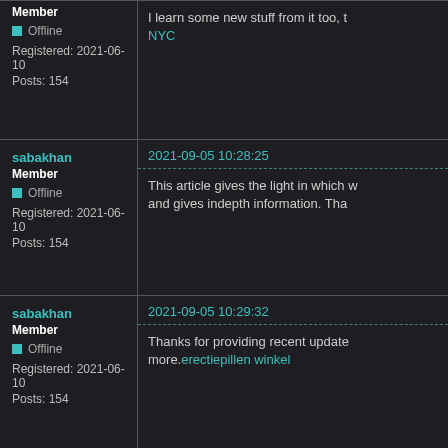Member
Offline
Registered: 2021-06-10
Posts: 154
I learn some new stuff from it too, t... NYC
sabakhan
Member
Offline
Registered: 2021-06-10
Posts: 154
2021-09-05 10:28:25
This article gives the light in which... and gives indepth information. Tha...
sabakhan
Member
Offline
Registered: 2021-06-10
Posts: 154
2021-09-05 10:29:32
Thanks for providing recent update... more. erectiepillen winkel
sabakhan
Member
2021-09-05 10:31:52